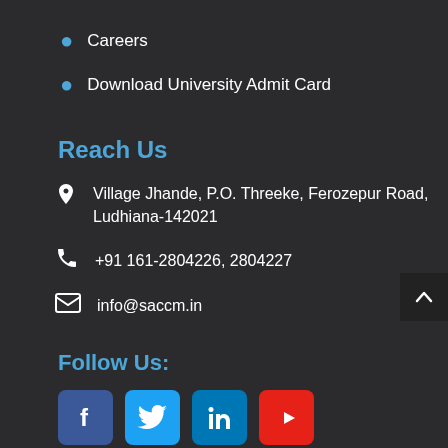Careers
Download University Admit Card
Reach Us
Village Jhande, P.O. Threeke, Ferozepur Road, Ludhiana-142021
+91 161-2804226, 2804227
info@saccm.in
Follow Us:
[Figure (infographic): Social media icons: Facebook, Twitter, LinkedIn, YouTube]